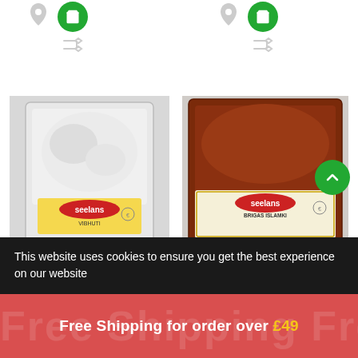[Figure (screenshot): Two product cards from Seelans Superstore website showing Pooja & Religious Items with product images, category labels, and product titles. Above the cards are green cart buttons and shuffle icons. A scroll-to-top green circle button is visible on the right. A dark cookie consent banner overlays the bottom portion, and a red free shipping promotional banner is at the very bottom.]
Pooja & Religious Items
Seelans Superstore Vi...
Pooja & Religious Items
Seelans Superstore P...
This website uses cookies to ensure you get the best experience on our website
Free Shipping for order over £49